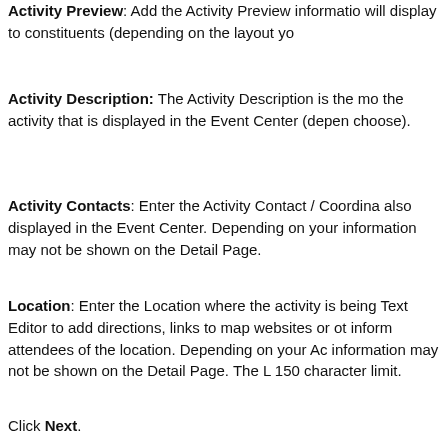Activity Preview: Add the Activity Preview information will display to constituents (depending on the layout yo
Activity Description: The Activity Description is the mo the activity that is displayed in the Event Center (depen choose).
Activity Contacts: Enter the Activity Contact / Coordina also displayed in the Event Center. Depending on your information may not be shown on the Detail Page.
Location: Enter the Location where the activity is being Text Editor to add directions, links to map websites or ot inform attendees of the location. Depending on your Ac information may not be shown on the Detail Page. The L 150 character limit.
Click Next.